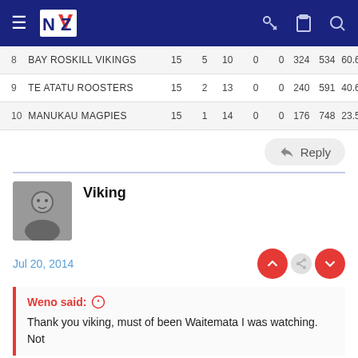NZ Rugby League - Navigation bar
| # | Team | P | W | L | D | B | PF | PA | % | +/- | Pts |
| --- | --- | --- | --- | --- | --- | --- | --- | --- | --- | --- | --- |
| 8 | BAY ROSKILL VIKINGS | 15 | 5 | 10 | 0 | 0 | 324 | 534 | 60.67 | -210 | 10 |
| 9 | TE ATATU ROOSTERS | 15 | 2 | 13 | 0 | 0 | 240 | 591 | 40.61 | -351 | 4 |
| 10 | MANUKAU MAGPIES | 15 | 1 | 14 | 0 | 0 | 176 | 748 | 23.53 | -572 | 2 |
Reply
Viking
Jul 20, 2014
Weno said:
Thank you viking, must of been Waitemata I was watching. Not